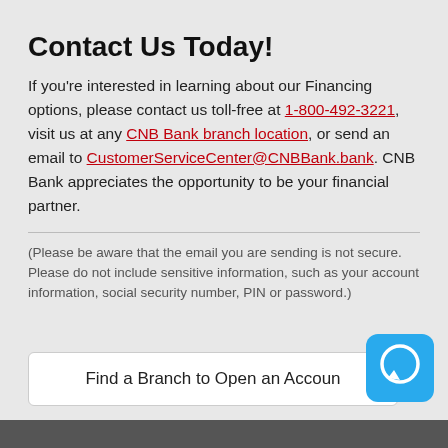Contact Us Today!
If you're interested in learning about our Financing options, please contact us toll-free at 1-800-492-3221, visit us at any CNB Bank branch location, or send an email to CustomerServiceCenter@CNBBank.bank. CNB Bank appreciates the opportunity to be your financial partner.
(Please be aware that the email you are sending is not secure. Please do not include sensitive information, such as your account information, social security number, PIN or password.)
Find a Branch to Open an Account